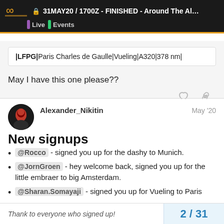🔒 31MAY20 / 1700Z - FINISHED - Around The Alp... | Live | Events
|LFPG|Paris Charles de Gaulle|Vueling|A320|378 nm|
May I have this one please??
Alexander_Nikitin  May '20
New signups
@Rocco - signed you up for the dashy to Munich.
@JornGroen - hey welcome back, signed you up for the little embraer to big Amsterdam.
@Sharan.Somayaji - signed you up for Vueling to Paris
Thank to everyone who signed up!  2 / 31